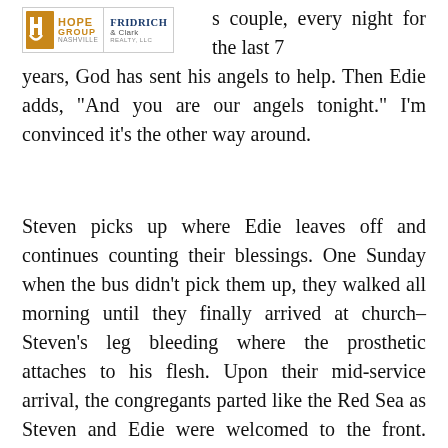[Figure (logo): Hope Group Nashville logo and Fridrich & Clark Realty logo side by side]
s couple, every night for the last 7 years, God has sent his angels to help. Then Edie adds, “And you are our angels tonight.” I’m convinced it’s the other way around.
Steven picks up where Edie leaves off and continues counting their blessings. One Sunday when the bus didn’t pick them up, they walked all morning until they finally arrived at church–Steven’s leg bleeding where the prosthetic attaches to his flesh. Upon their mid-service arrival, the congregants parted like the Red Sea as Steven and Edie were welcomed to the front. There Dave, the minister, grabbed a wet towel and washed the wound. Steven’s protesting was silenced by Dave’s insistence, “If Jesus can wash feet, so can I.” The church took Steven to the hospital and then took up a special